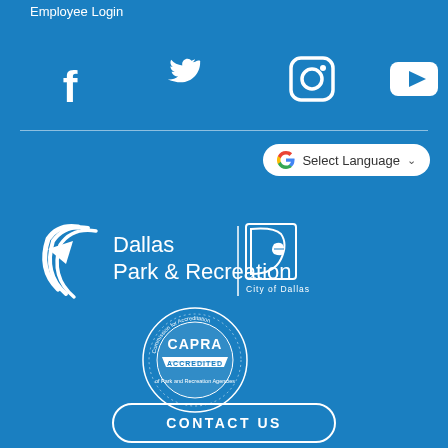Employee Login
[Figure (infographic): Social media icons: Facebook, Twitter, Instagram, YouTube in white on blue background]
[Figure (infographic): Google Translate widget with G logo and 'Select Language' dropdown]
[Figure (logo): Dallas Park & Recreation logo with City of Dallas logo]
[Figure (logo): CAPRA Accredited seal - Commission for Accreditation of Park and Recreation Agencies]
CONTACT US